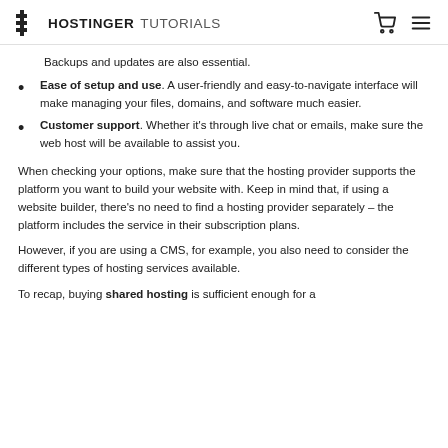HOSTINGER TUTORIALS
Backups and updates are also essential.
Ease of setup and use. A user-friendly and easy-to-navigate interface will make managing your files, domains, and software much easier.
Customer support. Whether it's through live chat or emails, make sure the web host will be available to assist you.
When checking your options, make sure that the hosting provider supports the platform you want to build your website with. Keep in mind that, if using a website builder, there's no need to find a hosting provider separately – the platform includes the service in their subscription plans.
However, if you are using a CMS, for example, you also need to consider the different types of hosting services available.
To recap, buying shared hosting is sufficient enough for a